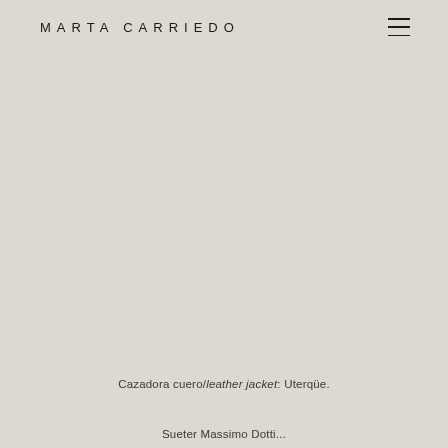MARTA CARRIEDO
[Figure (photo): Large background photo area with beige/taupe tone, mostly empty/faded]
Cazadora cuero/leather jacket: Uterqüe.
Sueter Massimo Datti...